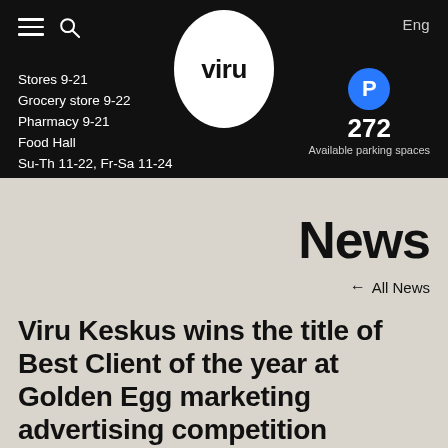Viru | Stores 9-21 | Grocery store 9-22 | Pharmacy 9-21 | Food Hall Su-Th 11-22, Fr-Sa 11-24 | Eng | P 272 Available parking spaces
News
← All News
Viru Keskus wins the title of Best Client of the year at Golden Egg marketing advertising competition